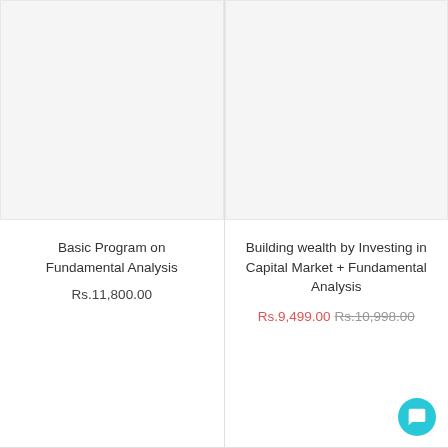[Figure (other): Product card image placeholder for Basic Program on Fundamental Analysis — light gray rectangle]
Basic Program on Fundamental Analysis
Rs.11,800.00
[Figure (other): Product card image placeholder for Building wealth by Investing in Capital Market + Fundamental Analysis — light gray rectangle]
Building wealth by Investing in Capital Market + Fundamental Analysis
Rs.9,499.00  Rs.10,998.00